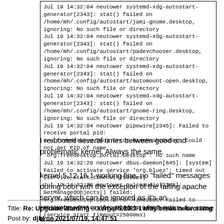[Figure (screenshot): Terminal log output box showing systemd and pipewire error messages]
I re-booted several times between good and problematic kernel. Always the same.
kernel 5.12.16.1 working fine, no "failed" messages during boot with the excepion of the failing apache server, which can be ignored as it's an ***unrelated*** config problem which exists for some time.
Title: Re: Upgrade Warning -- kernel 5.13.3-1 may break networking
Post by: djbl on 2021/07/19, 14:47:51